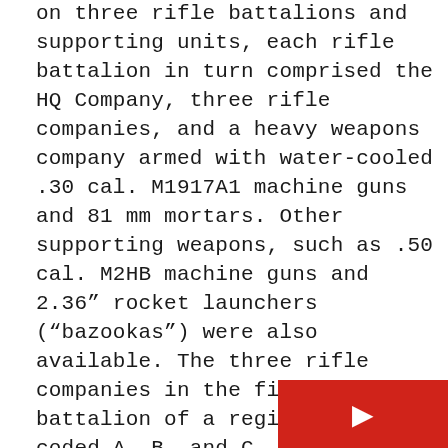on three rifle battalions and supporting units, each rifle battalion in turn comprised the HQ Company, three rifle companies, and a heavy weapons company armed with water-cooled .30 cal. M1917A1 machine guns and 81 mm mortars. Other supporting weapons, such as .50 cal. M2HB machine guns and 2.36” rocket launchers (“bazookas”) were also available. The three rifle companies in the first battalion of a regiment were coded A, B, and C, with the HW company being D. The second battalion was similarly organized on E, F, G, and H companies, and the third on I, K, L, and M companies. In US Army radio alphabet of that time, these letters translated into Able, Baker, Charlie, Dog, Easy, Fox, George, How, Item, King, Love, and Mike.

Infantry rifle companies (with a strength of about 190 men) included the company headquarters group, three rifle platoons, and a heavy weapons platoon with